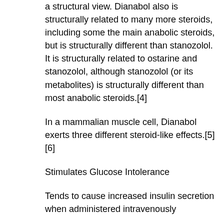a structural view. Dianabol also is structurally related to many more steroids, including some the main anabolic steroids, but is structurally different than stanozolol. It is structurally related to ostarine and stanozolol, although stanozolol (or its metabolites) is structurally different than most anabolic steroids.[4]
In a mammalian muscle cell, Dianabol exerts three different steroid-like effects.[5][6]
Stimulates Glucose Intolerance
Tends to cause increased insulin secretion when administered intravenously
Has a rapid onset and prolonged effects at lower dosages
Causes a significant decrease in insulin secretion with repeated supplementation